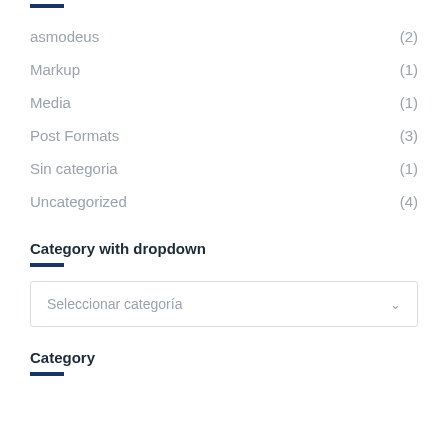asmodeus (2)
Markup (1)
Media (1)
Post Formats (3)
Sin categoria (1)
Uncategorized (4)
Category with dropdown
Seleccionar categoría
Category